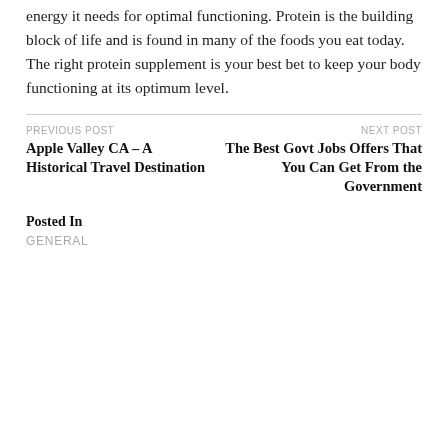energy it needs for optimal functioning. Protein is the building block of life and is found in many of the foods you eat today. The right protein supplement is your best bet to keep your body functioning at its optimum level.
PREVIOUS POST
Apple Valley CA – A Historical Travel Destination
NEXT POST
The Best Govt Jobs Offers That You Can Get From the Government
Posted In
GENERAL